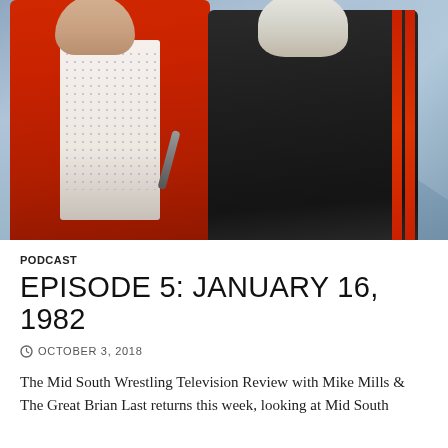[Figure (photo): Two men posing together in front of a blue backdrop. The man on the left wears a red jacket over a dotted shirt. The man on the right has white/grey hair and wears a dark track jacket with red stripes.]
PODCAST
EPISODE 5: JANUARY 16, 1982
OCTOBER 3, 2018
The Mid South Wrestling Television Review with Mike Mills & The Great Brian Last returns this week, looking at Mid South